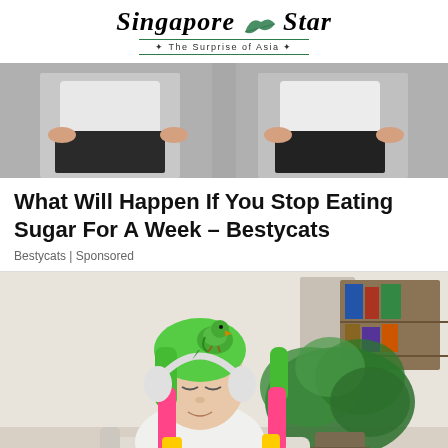Singapore Star — The Surprise of Asia
[Figure (photo): A person's midsection showing before/after weight comparison, mirrored image of someone in white top and dark pants with hands on hips]
What Will Happen If You Stop Eating Sugar For A Week – Bestycats
Bestycats | Sponsored
[Figure (photo): A young woman with rainbow-colored hair (green, pink, yellow) wearing white headphones and a white sweater, with a green parrot sitting on her head, a houseplant and bookshelf visible in the background]